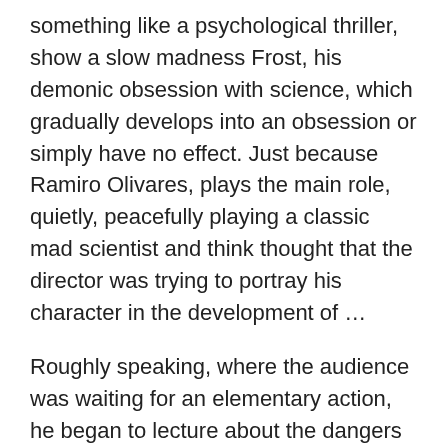something like a psychological thriller, show a slow madness Frost, his demonic obsession with science, which gradually develops into an obsession or simply have no effect. Just because Ramiro Olivares, plays the main role, quietly, peacefully playing a classic mad scientist and think thought that the director was trying to portray his character in the development of …
Roughly speaking, where the audience was waiting for an elementary action, he began to lecture about the dangers of uncontrolled scientific progress. However, where the action is finally starting to grow, it comes down in the end to a set of shocking scenes, such as the already mentioned quite explicit scenes with an act of necrophilia or psevdoromantichnym episodes drowning female zombie. From a male corpse of Dr. Frost's done easier …
Ecuador's Frankenstein, though very similar to the